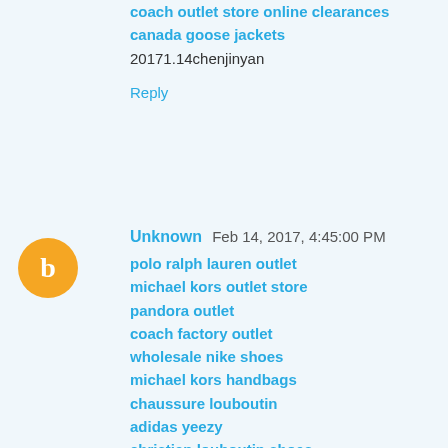coach outlet store online clearances
canada goose jackets
20171.14chenjinyan
Reply
[Figure (other): Blogger avatar circle with letter B, orange background]
Unknown  Feb 14, 2017, 4:45:00 PM
polo ralph lauren outlet
michael kors outlet store
pandora outlet
coach factory outlet
wholesale nike shoes
michael kors handbags
chaussure louboutin
adidas yeezy
christian louboutin shoes
louis vuitton pas cher
20170215caiyan
Reply